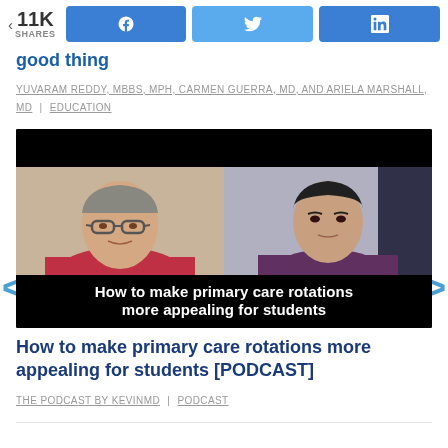11K SHARES | Facebook share | Twitter share | LinkedIn share
good thing
YUVARAM REDDY, MBBS, MPH, CARMEN GUERRA, MD, AND ARIELA MARSHALL, MD | EDUCATION
[Figure (photo): Video thumbnail showing two people in a split-screen video call. The lower portion has a black bar with white bold text reading: How to make primary care rotations more appealing for students]
How to make primary care rotations more appealing for students [PODCAST]
THE PODCAST BY KEVINMD | PODCAST